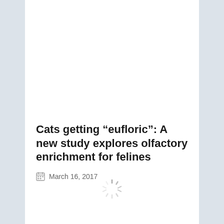[Figure (photo): An orange tabby cat rolling on its back in green foliage/catnip plants, viewed from above]
Cats getting “eufloric”: A new study explores olfactory enrichment for felines
March 16, 2017
[Figure (other): Loading spinner icon]